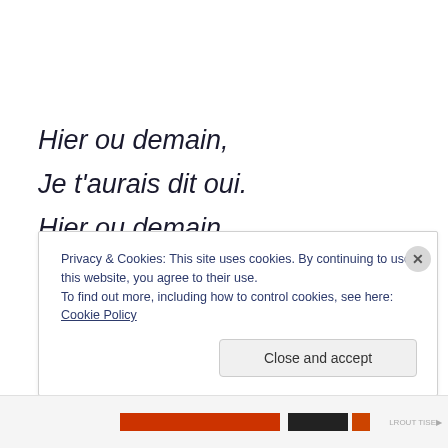Hier ou demain,
Je t'aurais dit oui.
Hier ou demain,
Mais pas aujourd'hui.
Hier ou demain,
Mais pas aujourd'hui.
Privacy & Cookies: This site uses cookies. By continuing to use this website, you agree to their use.
To find out more, including how to control cookies, see here: Cookie Policy